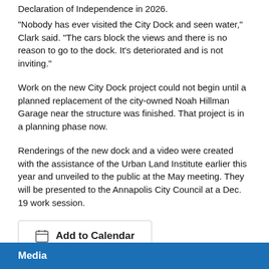Declaration of Independence in 2026.
"Nobody has ever visited the City Dock and seen water," Clark said. "The cars block the views and there is no reason to go to the dock. It's deteriorated and is not inviting."
Work on the new City Dock project could not begin until a planned replacement of the city-owned Noah Hillman Garage near the structure was finished. That project is in a planning phase now.
Renderings of the new dock and a video were created with the assistance of the Urban Land Institute earlier this year and unveiled to the public at the May meeting. They will be presented to the Annapolis City Council at a Dec. 19 work session.
Add to Calendar
Media